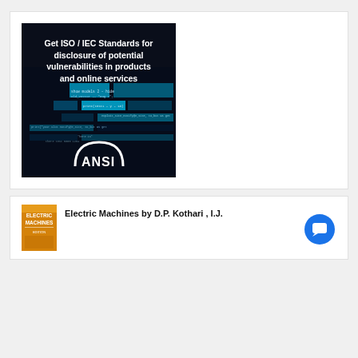[Figure (illustration): ANSI promotional banner on dark blue/black background with code text overlay. White text reads: 'Get ISO / IEC Standards for disclosure of potential vulnerabilities in products and online services'. ANSI logo (white arc with ANSI text) at bottom center.]
[Figure (photo): Book cover thumbnail for 'Electric Machines' (orange/yellow cover)]
Electric Machines by D.P. Kothari , I.J.